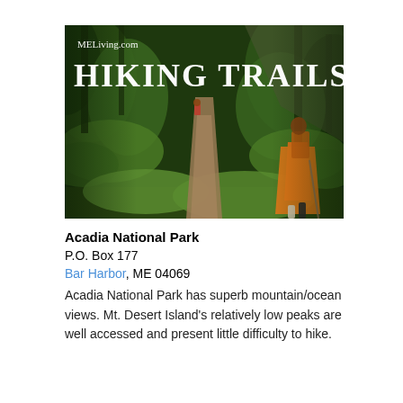[Figure (photo): Two hikers on a forested trail, one in an orange rain poncho with a large backpack, the other smaller in the background. Green ferns and tall trees surround the dirt path. Text overlay reads 'MELiving.com' and 'HIKING TRAILS'.]
Acadia National Park
P.O. Box 177
Bar Harbor, ME 04069
Acadia National Park has superb mountain/ocean views. Mt. Desert Island's relatively low peaks are well accessed and present little difficulty to hike.